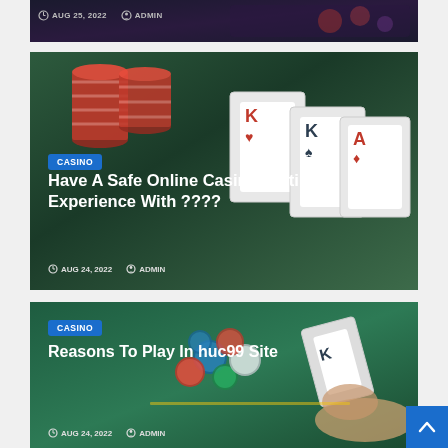AUG 25, 2022  ADMIN
[Figure (photo): Casino chips and playing cards on a dark background - top article image strip]
CASINO
Have A Safe Online Casino Betting Experience With ????
AUG 24, 2022  ADMIN
[Figure (photo): Casino chips (red, blue, green, white) on a green felt blackjack table with a hand holding playing cards]
CASINO
Reasons To Play In huc99 Site
AUG 24, 2022  ADMIN